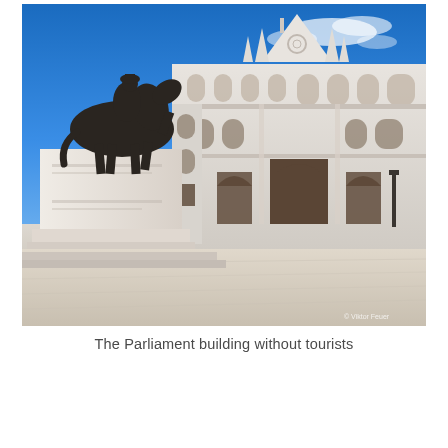[Figure (photo): Photograph of the Hungarian Parliament Building in Budapest, showing the ornate Gothic Revival white stone facade with arched windows, spires, and a central pediment. In the foreground on the left stands a large bronze equestrian statue on a white stone pedestal. The wide plaza in front is empty of tourists. A blue sky with light clouds is visible in the background. A small copyright watermark reads '© Viktor Feuer' in the lower right corner.]
The Parliament building without tourists